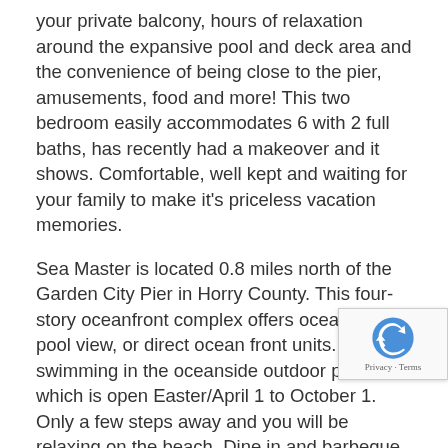your private balcony, hours of relaxation around the expansive pool and deck area and the convenience of being close to the pier, amusements, food and more! This two bedroom easily accommodates 6 with 2 full baths, has recently had a makeover and it shows. Comfortable, well kept and waiting for your family to make it's priceless vacation memories.
Sea Master is located 0.8 miles north of the Garden City Pier in Horry County. This four-story oceanfront complex offers ocean view, pool view, or direct ocean front units. Enjoy swimming in the oceanside outdoor pool, which is open Easter/April 1 to October 1. Only a few steps away and you will be relaxing on the beach. Dine in and barbeque at the outdoor grill area or go for a short drive to dine out at one of many local restaurants. For your convenience, Sea Master has an elevator, coin-operated laundry onsite, and limited covered parking. Motorcycles are allowed but may not be parked underneath the building. Two parking